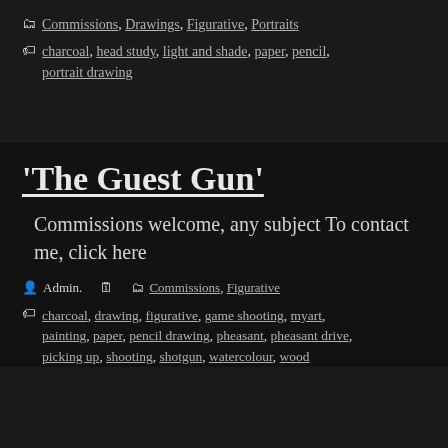Commissions, Drawings, Figurative, Portraits
charcoal, head study, light and shade, paper, pencil, portrait drawing
'The Guest Gun'
Commissions welcome, any subject To contact me, click here
Admin.
Commissions, Figurative
charcoal, drawing, figurative, game shooting, myart, painting, paper, pencil drawing, pheasant, pheasant drive, picking up, shooting, shotgun, watercolour, wood